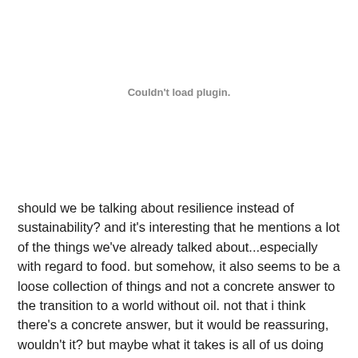Couldn't load plugin.
should we be talking about resilience instead of sustainability?  and it's interesting that he mentions a lot of the things we've already talked about...especially with regard to food. but somehow, it also seems to be a loose collection of things and not a concrete answer to the transition to a world without oil. not that i think there's a concrete answer, but it would be reassuring, wouldn't it?  but maybe what it takes is all of us doing some small, but smart part. i guess that's my hope.